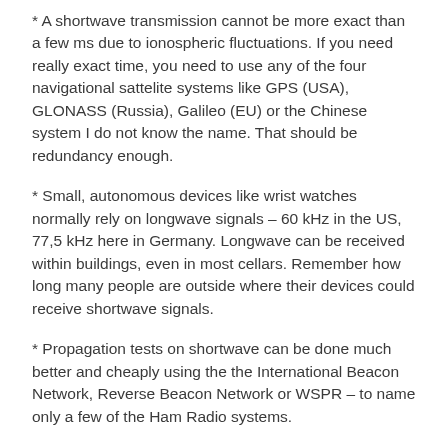* A shortwave transmission cannot be more exact than a few ms due to ionospheric fluctuations. If you need really exact time, you need to use any of the four navigational sattelite systems like GPS (USA), GLONASS (Russia), Galileo (EU) or the Chinese system I do not know the name. That should be redundancy enough.
* Small, autonomous devices like wrist watches normally rely on longwave signals – 60 kHz in the US, 77,5 kHz here in Germany. Longwave can be received within buildings, even in most cellars. Remember how long many people are outside where their devices could receive shortwave signals.
* Propagation tests on shortwave can be done much better and cheaply using the the International Beacon Network, Reverse Beacon Network or WSPR – to name only a few of the Ham Radio systems.
* In the majority of cases you can use a time server on the